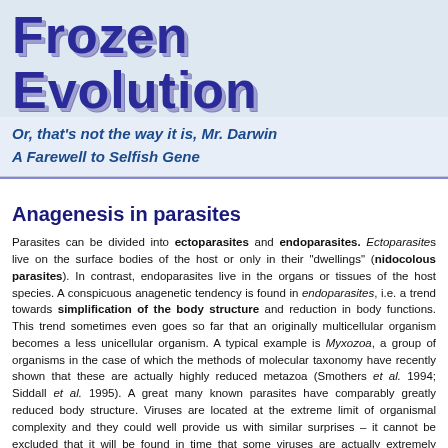Frozen Evolution
Or, that's not the way it is, Mr. Darwin
A Farewell to Selfish Gene
Anagenesis in parasites
Parasites can be divided into ectoparasites and endoparasites. Ectoparasites live on the surface bodies of the host or only in their "dwellings" (nidocolous parasites). In contrast, endoparasites live in the organs or tissues of the host species. A conspicuous anagenetic tendency is found in endoparasites, i.e. a trend towards simplification of the body structure and reduction in body functions. This trend sometimes even goes so far that an originally multicellular organism becomes a less unicellular organism. A typical example is Myxozoa, a group of organisms in the case of which the methods of molecular taxonomy have recently shown that these are actually highly reduced metazoa (Smothers et al. 1994; Siddall et al. 1995). A great many known parasites have comparably greatly reduced body structure. Viruses are located at the extreme limit of organismal complexity and they could well provide us with similar surprises – it cannot be excluded that it will be found in time that some viruses are actually extremely reduced organisms (probably not, but it would be nice, wouldn't it?)
The reason for the simplification of the body structure of endoparasites is pr...